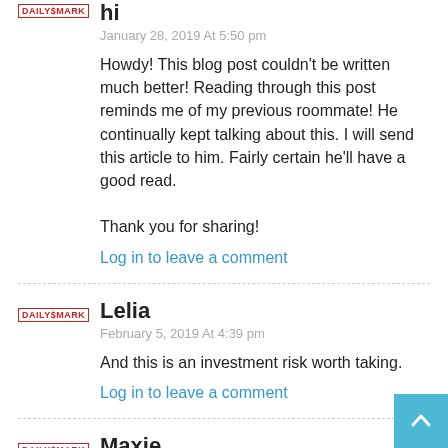hi
January 28, 2019 At 5:50 pm
Howdy! This blog post couldn't be written much better! Reading through this post reminds me of my previous roommate! He continually kept talking about this. I will send this article to him. Fairly certain he'll have a good read.

Thank you for sharing!
Log in to leave a comment
Lelia
February 5, 2019 At 4:39 pm
And this is an investment risk worth taking.
Log in to leave a comment
Maxie
February 10, 2019 At 5:44 am